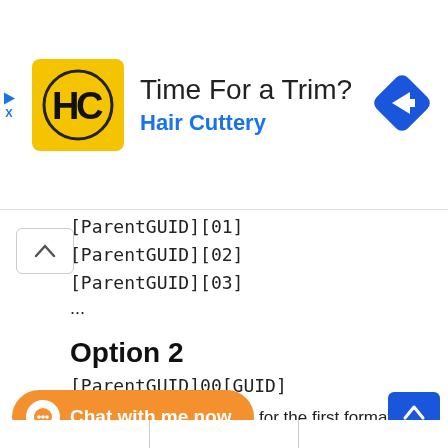[Figure (screenshot): Hair Cuttery advertisement banner with logo, title 'Time For a Trim?', subtitle 'Hair Cuttery', and a blue navigation arrow icon on the right.]
[ParentGUID][01]
[ParentGUID][02]
[ParentGUID][03]
...
Option 2
[ParentGUID]00[GUID]
Out of the box examples for the first format are as below:
[Figure (screenshot): Orange 'Chat with me now' button with chat bubble icon]
[Figure (screenshot): Blue scroll-to-top button with up arrow]